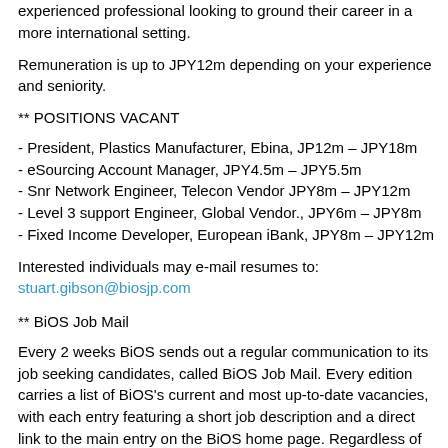experienced professional looking to ground their career in a more international setting.
Remuneration is up to JPY12m depending on your experience and seniority.
** POSITIONS VACANT
- President, Plastics Manufacturer, Ebina, JP12m – JPY18m
- eSourcing Account Manager, JPY4.5m – JPY5.5m
- Snr Network Engineer, Telecon Vendor JPY8m – JPY12m
- Level 3 support Engineer, Global Vendor., JPY6m – JPY8m
- Fixed Income Developer, European iBank, JPY8m – JPY12m
Interested individuals may e-mail resumes to: stuart.gibson@biosjp.com
** BiOS Job Mail
Every 2 weeks BiOS sends out a regular communication to its job seeking candidates, called BiOS Job Mail. Every edition carries a list of BiOS's current and most up-to-date vacancies, with each entry featuring a short job description and a direct link to the main entry on the BiOS home page. Regardless of whether you are unemployed and searching, thinking about a career change, or just curious to know if there is something out there that might suit you better, the BiOS Job Mail newsletter is an easy and